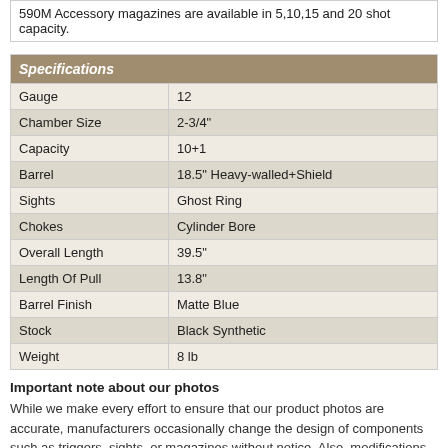590M Accessory magazines are available in 5,10,15 and 20 shot capacity.
| Specifications |  |
| --- | --- |
| Gauge | 12 |
| Chamber Size | 2-3/4" |
| Capacity | 10+1 |
| Barrel | 18.5" Heavy-walled+Shield |
| Sights | Ghost Ring |
| Chokes | Cylinder Bore |
| Overall Length | 39.5" |
| Length Of Pull | 13.8" |
| Barrel Finish | Matte Blue |
| Stock | Black Synthetic |
| Weight | 8 lb |
Important note about our photos
While we make every effort to ensure that our product photos are accurate, manufacturers occasionally change the design of components such as triggers, sights, or magazines without notice. Also, modifications to the firearm or component may be required in order to meet specific state compliance requirements. While we make every effort to accurately describe and illustrate the item you are going to receive, there may be visual